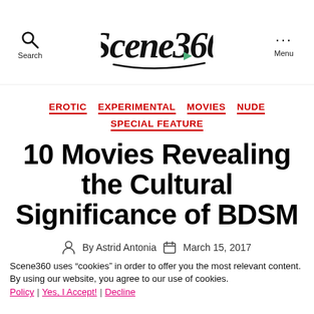Scene360
EROTIC  EXPERIMENTAL  MOVIES  NUDE  SPECIAL FEATURE
10 Movies Revealing the Cultural Significance of BDSM
By Astrid Antonia   March 15, 2017
Scene360 uses “cookies” in order to offer you the most relevant content. By using our website, you agree to our use of cookies. Policy | Yes, I Accept! | Decline